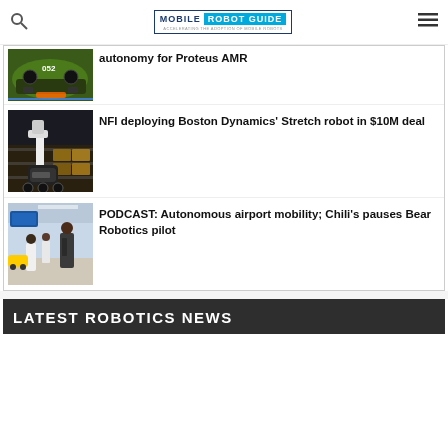MOBILE ROBOT GUIDE — Accelerating the adoption of mobile robots
[Figure (photo): AMR robot vehicle viewed from front in warehouse, partially cropped at top]
autonomy for Proteus AMR
[Figure (photo): Boston Dynamics Stretch robot arm in warehouse aisle with boxes]
NFI deploying Boston Dynamics' Stretch robot in $10M deal
[Figure (photo): People walking in airport terminal with automated mobility vehicle]
PODCAST: Autonomous airport mobility; Chili's pauses Bear Robotics pilot
LATEST ROBOTICS NEWS